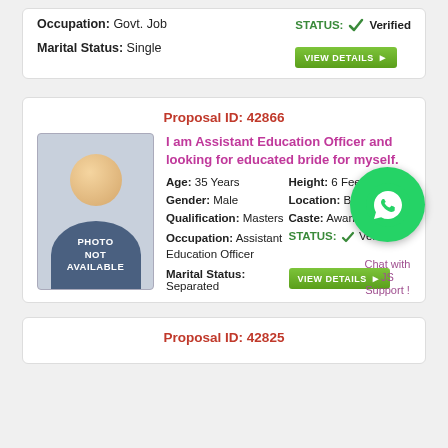Occupation: Govt. Job | STATUS: ✓ Verified
Marital Status: Single
Proposal ID: 42866
I am Assistant Education Officer and looking for educated bride for myself.
[Figure (photo): Photo not available placeholder with person silhouette]
Age: 35 Years | Height: 6 Feet 1 Inch | Gender: Male | Location: Bahawalpur | Qualification: Masters | Caste: Awan | Occupation: Assistant Education Officer | STATUS: ✓ Verified | Marital Status: Separated
Proposal ID: 42825